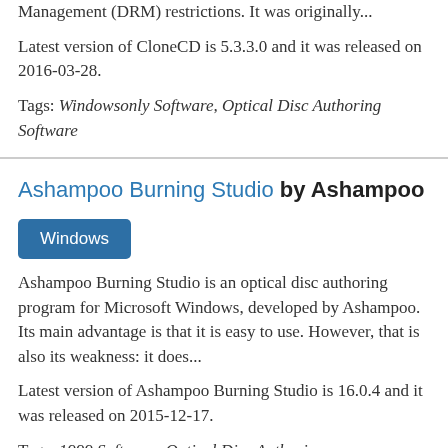Management (DRM) restrictions. It was originally...
Latest version of CloneCD is 5.3.3.0 and it was released on 2016-03-28.
Tags: Windowsonly Software, Optical Disc Authoring Software
Ashampoo Burning Studio by Ashampoo
Windows
Ashampoo Burning Studio is an optical disc authoring program for Microsoft Windows, developed by Ashampoo. Its main advantage is that it is easy to use. However, that is also its weakness: it does...
Latest version of Ashampoo Burning Studio is 16.0.4 and it was released on 2015-12-17.
Tags: 1999 Software, Optical Disc Authoring